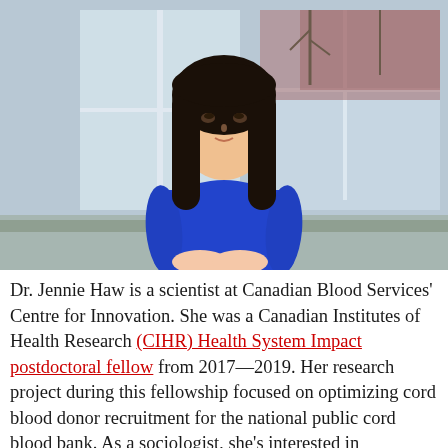[Figure (photo): A woman with long dark hair wearing a blue sweater, standing indoors near large windows with a brick building visible outside. She is looking at the camera with a calm expression.]
Dr. Jennie Haw is a scientist at Canadian Blood Services' Centre for Innovation. She was a Canadian Institutes of Health Research (CIHR) Health System Impact postdoctoral fellow from 2017—2019. Her research project during this fellowship focused on optimizing cord blood donor recruitment for the national public cord blood bank. As a sociologist, she's interested in understanding how health and health systems relate to the individual and